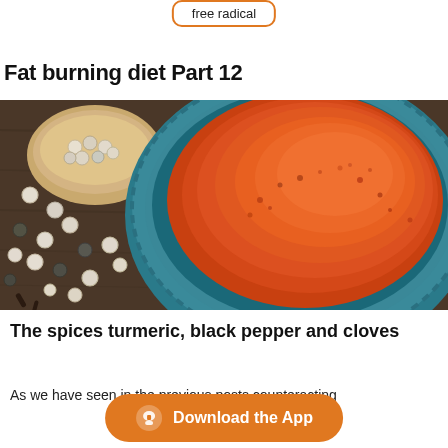free radical
Fat burning diet Part 12
[Figure (photo): A blue ceramic bowl filled with orange-red spice powder (likely cayenne or paprika), with whole white and black peppercorns scattered on a dark wooden surface, and a small wooden bowl of peppercorns in the background.]
The spices turmeric, black pepper and cloves
As we have seen in the previous posts counteracting
Download the App